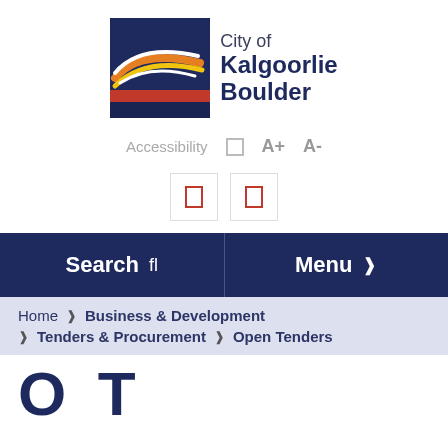[Figure (logo): City of Kalgoorlie Boulder logo with graphic of stylized swooshes in red, yellow, orange, white on dark blue background, and text 'City of Kalgoorlie Boulder']
Accessibility  □  A+  A-
[Figure (other): Two social media icon buttons (Facebook, Twitter) with red outline square icons]
Search  🔍
Menu  ☰
Home  ❯  Business & Development  ❯  Tenders & Procurement  ❯  Open Tenders
O  T...